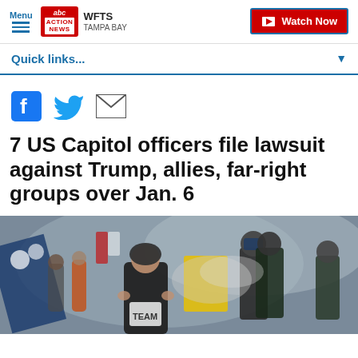Menu | ABC Action News WFTS Tampa Bay | Watch Now
Quick links...
[Figure (other): Social media share icons: Facebook, Twitter, Email]
7 US Capitol officers file lawsuit against Trump, allies, far-right groups over Jan. 6
[Figure (photo): Photo of Jan. 6 Capitol riot showing protesters clashing with police in riot gear amid smoke and crowd]